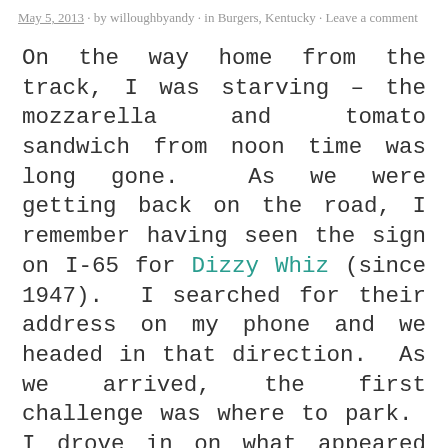May 5, 2013 · by willoughbyandy · in Burgers, Kentucky · Leave a comment
On the way home from the track, I was starving – the mozzarella and tomato sandwich from noon time was long gone.  As we were getting back on the road, I remember having seen the sign on I-65 for Dizzy Whiz (since 1947).  I searched for their address on my phone and we headed in that direction.  As we arrived, the first challenge was where to park.  I drove in on what appeared to be a one way road (the wrong way – no less) and all of the parking was in a lot behind the restaurant (there was no parking in front as the restaurant extended to